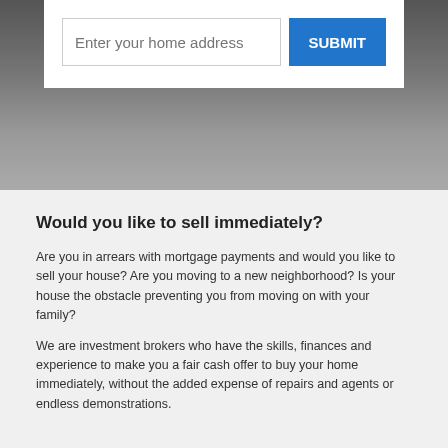[Figure (screenshot): Top section showing a form card with an address input field and a blue SUBMIT button overlaid on a dark background image.]
Would you like to sell immediately?
Are you in arrears with mortgage payments and would you like to sell your house? Are you moving to a new neighborhood? Is your house the obstacle preventing you from moving on with your family?
We are investment brokers who have the skills, finances and experience to make you a fair cash offer to buy your home immediately, without the added expense of repairs and agents or endless demonstrations.